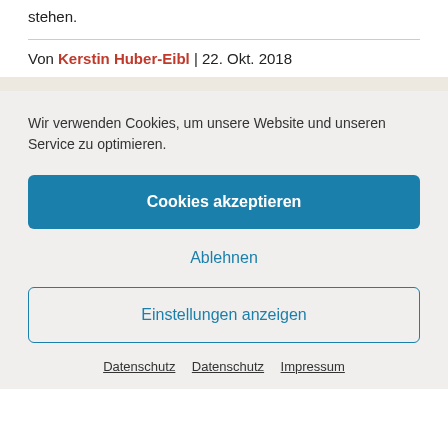stehen.
Von Kerstin Huber-Eibl | 22. Okt. 2018
Wir verwenden Cookies, um unsere Website und unseren Service zu optimieren.
Cookies akzeptieren
Ablehnen
Einstellungen anzeigen
Datenschutz  Datenschutz  Impressum